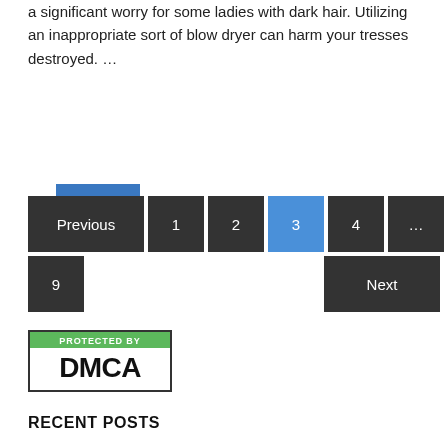a significant worry for some ladies with dark hair. Utilizing an inappropriate sort of blow dryer can harm your tresses destroyed. …
READ MORE
Previous 1 2 3 4 … 9 Next
[Figure (logo): DMCA Protected badge with green 'Protected By' header and black 'DMCA' text in a bordered box]
RECENT POSTS